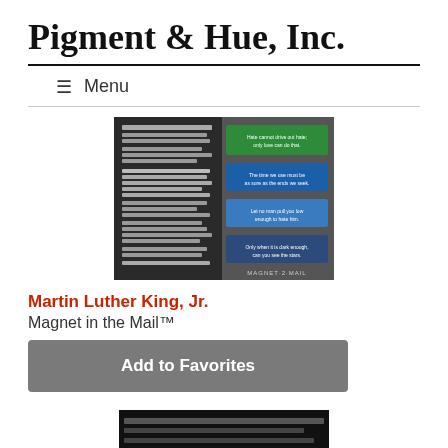Pigment & Hue, Inc.
≡ Menu
[Figure (screenshot): Product image of Martin Luther King Jr. Magnet in the Mail showing quotes on colored bands]
Martin Luther King, Jr.
Magnet in the Mail™
Add to Favorites
[Figure (screenshot): Partial view of another product image at the bottom of the page]